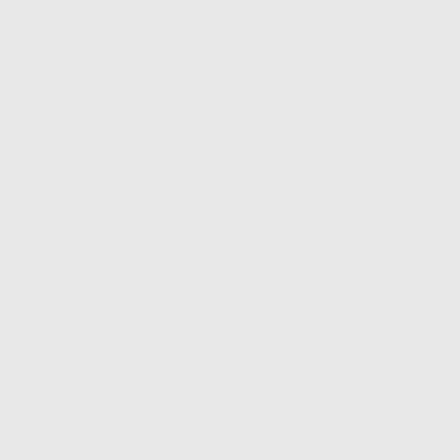ectarine Varieties
Olmstead, Jose Chaparro,
es